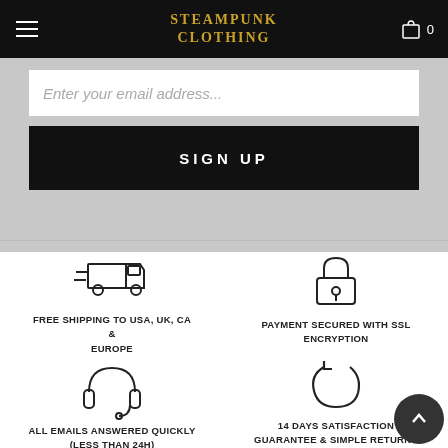Steampunk Clothing
Enter your email address...
SIGN UP
[Figure (illustration): Delivery truck icon with speed lines]
FREE SHIPPING TO USA, UK, CA & EUROPE
[Figure (illustration): Padlock with keyhole icon for SSL security]
PAYMENT SECURED WITH SSL ENCRYPTION
[Figure (illustration): Headset / customer support icon]
ALL EMAILS ANSWERED QUICKLY (LESS THAN 24H)
[Figure (illustration): Circular arrow / refresh icon for returns]
14 DAYS SATISFACTION GUARANTEE & SIMPLE RETURNS